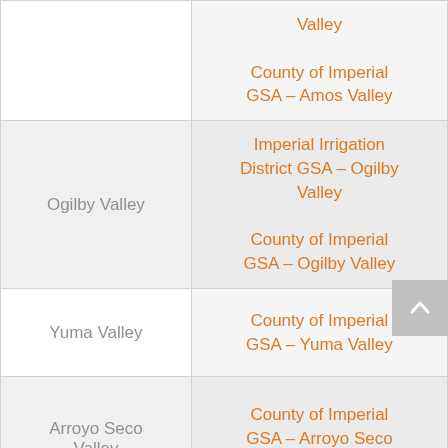| Basin / Sub-basin | GSA |
| --- | --- |
|  | Valley
County of Imperial GSA – Amos Valley |
| Ogilby Valley | Imperial Irrigation District GSA – Ogilby Valley
County of Imperial GSA – Ogilby Valley |
| Yuma Valley | County of Imperial GSA – Yuma Valley |
| Arroyo Seco Valley | County of Imperial GSA – Arroyo Seco Valley |